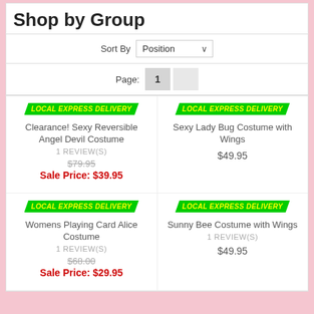Shop by Group
Sort By  Position
Page: 1
LOCAL EXPRESS DELIVERY
Clearance! Sexy Reversible Angel Devil Costume
1 REVIEW(S)
$79.95
Sale Price: $39.95
LOCAL EXPRESS DELIVERY
Sexy Lady Bug Costume with Wings
$49.95
LOCAL EXPRESS DELIVERY
Womens Playing Card Alice Costume
1 REVIEW(S)
$68.00
Sale Price: $29.95
LOCAL EXPRESS DELIVERY
Sunny Bee Costume with Wings
1 REVIEW(S)
$49.95